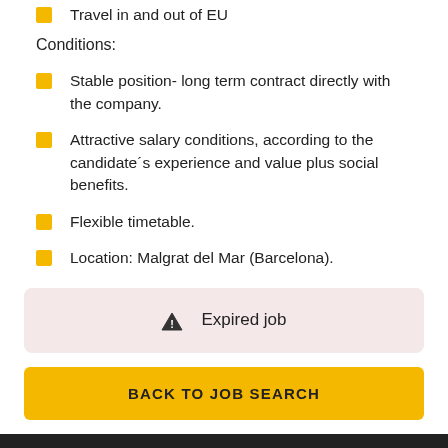Travel in and out of EU
Conditions:
Stable position- long term contract directly with the company.
Attractive salary conditions, according to the candidate´s experience and value plus social benefits.
Flexible timetable.
Location: Malgrat del Mar (Barcelona).
⚠ Expired job
BACK TO JOB SEARCH